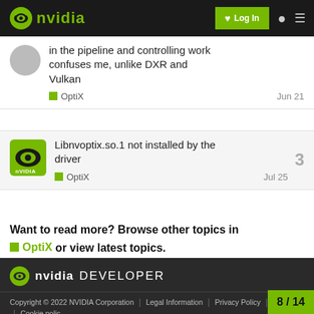NVIDIA Developer Forums
in the pipeline and controlling work confuses me, unlike DXR and Vulkan
OptiX  Jun 21
Libnvoptix.so.1 not installed by the driver  3
OptiX  Jul 25
Want to read more? Browse other topics in OptiX or view latest topics.
NVIDIA DEVELOPER
Copyright © 2022 NVIDIA Corporation  |  Legal Information  |  Privacy Policy  |  Contact  |  Cookie policy  8/14